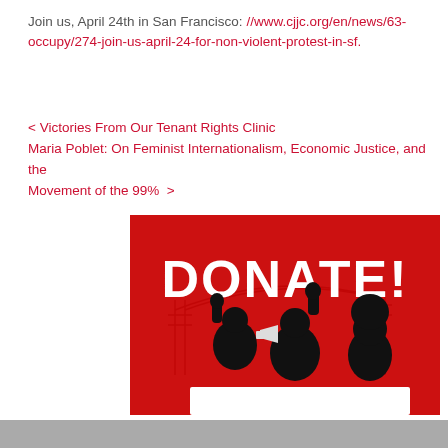Join us, April 24th in San Francisco: //www.cjjc.org/en/news/63-occupy/274-join-us-april-24-for-non-violent-protest-in-sf.
< Victories From Our Tenant Rights Clinic
Maria Poblet: On Feminist Internationalism, Economic Justice, and the Movement of the 99%  >
[Figure (illustration): Red protest poster with bold white text reading DONATE! and silhouettes of protesters with raised fists and megaphone against a red background with the Golden Gate Bridge outline.]